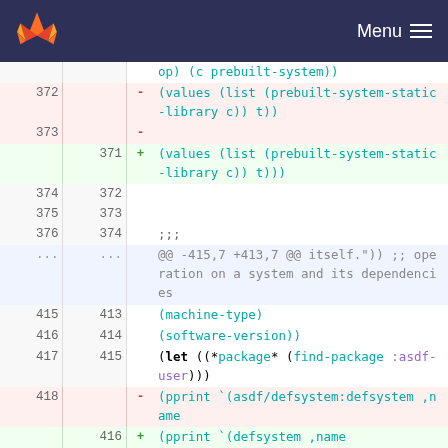GitLab navbar with logo and Menu
[Figure (screenshot): GitLab diff view showing code changes in a Lisp/Common Lisp file. Lines 372-373 removed, line 371 added (prebuilt-system-static-library values). Lines 374-376/372-374 neutral. Hunk header at ... showing @@ -415,7 +413,7 @@ itself. Lines 415-417/413-415 neutral with machine-type, software-version, let *package* find-package :asdf-user. Line 418 removed (pprint asdf/defsystem:defsystem ,name). Line 416 added (pprint defsystem ,name). Line 419/417 neutral (:class prebuilt-system).]